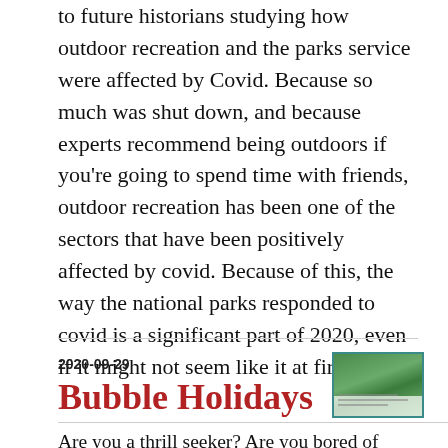to future historians studying how outdoor recreation and the parks service were affected by Covid. Because so much was shut down, and because experts recommend being outdoors if you're going to spend time with friends, outdoor recreation has been one of the sectors that have been positively affected by covid. Because of this, the way the national parks responded to covid is a significant part of 2020, even if it might not seem like it at first glance.
2020-09-29
[Figure (photo): Small thumbnail image showing green foliage/plants with a teal border]
Bubble Holidays
Are you a thrill seeker? Are you bored of sitting at home all day? Don't worry we have a safe way to fulfil all your desires. Bubble holiday- The safest way to travel during a pandemic. The Jama Yareka group